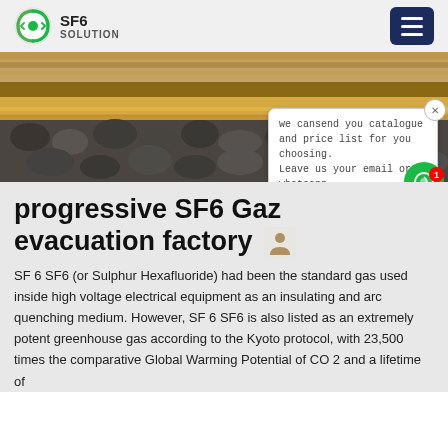SF6 SOLUTION
[Figure (photo): Outdoor photo showing rows of dark stones/rocks and brickwork, likely a construction or industrial site, with the word 'na' partially visible on a wall]
progressive SF6 Gaz evacuation factory
SF 6 SF6 (or Sulphur Hexafluoride) had been the standard gas used inside high voltage electrical equipment as an insulating and arc quenching medium. However, SF 6 SF6 is also listed as an extremely potent greenhouse gas according to the Kyoto protocol, with 23,500 times the comparative Global Warming Potential of CO 2 and a lifetime of